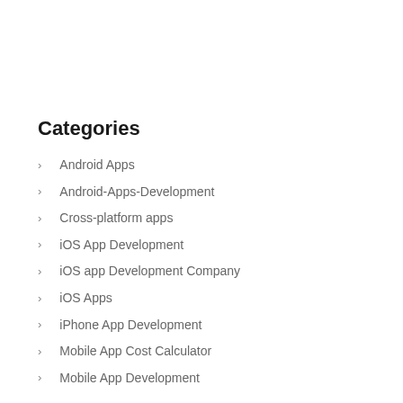Categories
Android Apps
Android-Apps-Development
Cross-platform apps
iOS App Development
iOS app Development Company
iOS Apps
iPhone App Development
Mobile App Cost Calculator
Mobile App Development